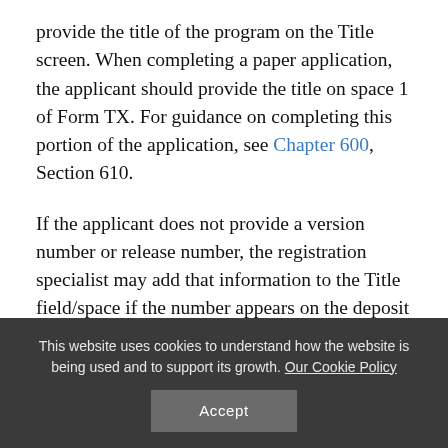provide the title of the program on the Title screen. When completing a paper application, the applicant should provide the title on space 1 of Form TX. For guidance on completing this portion of the application, see Chapter 600, Section 610.
If the applicant does not provide a version number or release number, the registration specialist may add that information to the Title field/space if the number appears on the deposit or elsewhere in the registration materials and if it is clear that the number identifies the specific version that has been submitted for registration. In such cases, the specialists will add an annotation to the record, such as: “Regarding title information: Added by Copyright Office from
This website uses cookies to understand how the website is being used and to support its growth. Our Cookie Policy